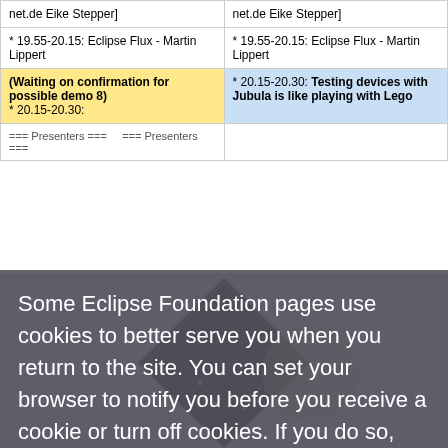|  |  |
| --- | --- |
| net.de Eike Stepper] | net.de Eike Stepper] |
| * 19.55-20.15: Eclipse Flux - Martin Lippert | * 19.55-20.15: Eclipse Flux - Martin Lippert |
| * 20.15-20.30: (Waiting on confirmation for possible demo 8) | * 20.15-20.30: Testing devices with Jubula is like playing with Lego |
| === Presenters === ... === Presenters === | === Presenters === ... === Presenters === |
Some Eclipse Foundation pages use cookies to better serve you when you return to the site. You can set your browser to notify you before you receive a cookie or turn off cookies. If you do so, however, some areas of some sites may not function properly. To read Eclipse Foundation Privacy Policy click here.
Revision as of 10:23, 28 May 2014
[Figure (logo): Eclipse Foundation logo - diamond shape with purple/grey background]